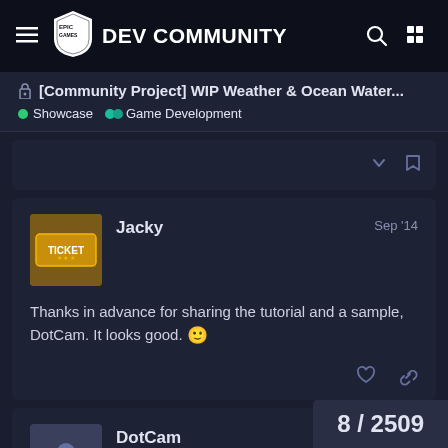Epic Games Dev Community
[Community Project] WIP Weather & Ocean Water...
Showcase  Game Development
Jacky  Sep '14
Thanks in advance for sharing the tutorial and a sample, DotCam. It looks good. 🙂
DotCam  Sep '14
8 / 2509